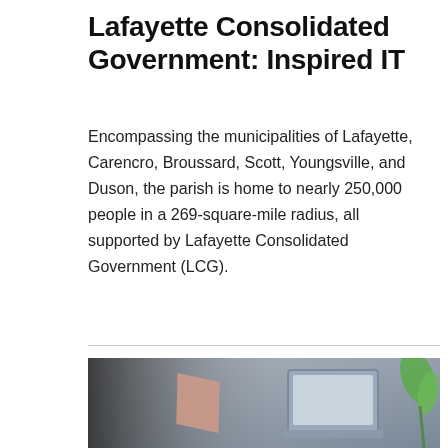Lafayette Consolidated Government: Inspired IT
Encompassing the municipalities of Lafayette, Carencro, Broussard, Scott, Youngsville, and Duson, the parish is home to nearly 250,000 people in a 269-square-mile radius, all supported by Lafayette Consolidated Government (LCG).
[Figure (photo): A person working on a laptop, with a plant visible in the background.]